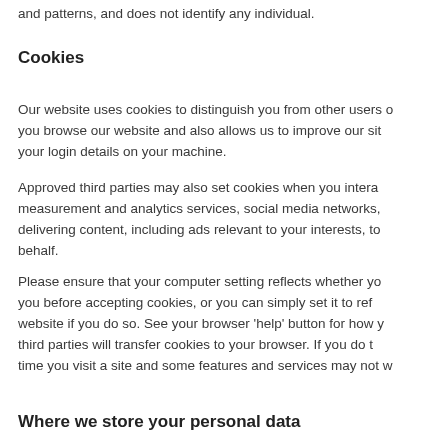and patterns, and does not identify any individual.
Cookies
Our website uses cookies to distinguish you from other users of you browse our website and also allows us to improve our sit your login details on your machine.
Approved third parties may also set cookies when you intera measurement and analytics services, social media networks, delivering content, including ads relevant to your interests, to behalf.
Please ensure that your computer setting reflects whether yo you before accepting cookies, or you can simply set it to ref website if you do so. See your browser 'help' button for how y third parties will transfer cookies to your browser. If you do t time you visit a site and some features and services may not w
Where we store your personal data